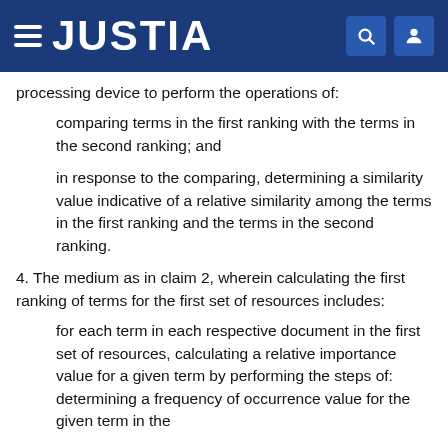JUSTIA
processing device to perform the operations of:
comparing terms in the first ranking with the terms in the second ranking; and
in response to the comparing, determining a similarity value indicative of a relative similarity among the terms in the first ranking and the terms in the second ranking.
4. The medium as in claim 2, wherein calculating the first ranking of terms for the first set of resources includes:
for each term in each respective document in the first set of resources, calculating a relative importance value for a given term by performing the steps of: determining a frequency of occurrence value for the given term in the